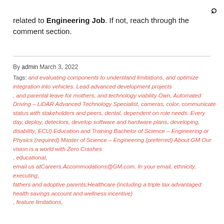related to Engineering Job. If not, reach through the comment section.
By admin March 3, 2022
Tags: and evaluating components to understand limitations, and optimize integration into vehicles. Lead advanced development projects , and parental leave for mothers, and technology viability Own, Automated Driving – LiDAR Advanced Technology Specialist, cameras, color, communicate status with stakeholders and peers, dental, dependent on role needs. Every day, deploy, detectors, develop software and hardware plans, developing, disability, ECU) Education and Training Bachelor of Science – Engineering or Physics (required) Master of Science – Engineering (preferred) About GM Our vision is a world with Zero Crashes , educational, email us atCareers.Accommodations@GM.com. In your email, ethnicity, executing, fathers and adoptive parents;Healthcare (including a triple tax advantaged health savings account and wellness incentive) , feature limitations,